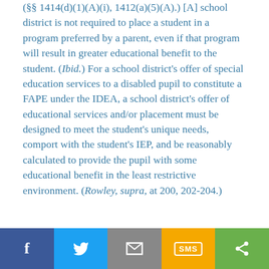(§§ 1414(d)(1)(A)(i), 1412(a)(5)(A).) [A] school district is not required to place a student in a program preferred by a parent, even if that program will result in greater educational benefit to the student. (Ibid.) For a school district's offer of special education services to a disabled pupil to constitute a FAPE under the IDEA, a school district's offer of educational services and/or placement must be designed to meet the student's unique needs, comport with the student's IEP, and be reasonably calculated to provide the pupil with some educational benefit in the least restrictive environment. (Rowley, supra, at 200, 202-204.)
[Figure (other): Social sharing bar with Facebook, Twitter, Email, SMS, and Share buttons]